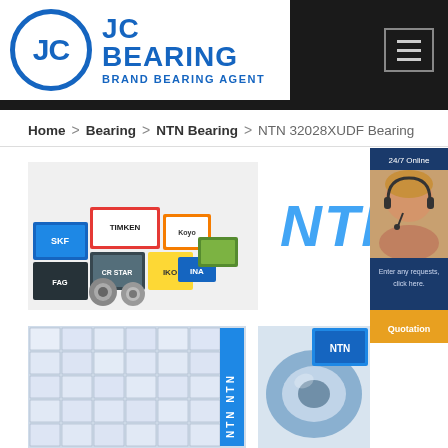JC BEARING - BRAND BEARING AGENT
Home > Bearing > NTN Bearing > NTN 32028XUDF Bearing
[Figure (photo): Multiple bearing brand boxes including SKF, TIMKEN, Koyo, FAG, IKO and others stacked together]
[Figure (logo): NTN logo in large blue italic text]
[Figure (photo): Customer service representative with headset, 24/7 online chat widget with quotation button]
[Figure (photo): Stack of NTN bearing boxes in warehouse]
[Figure (photo): NTN bearing parts showing tapered roller bearing components]